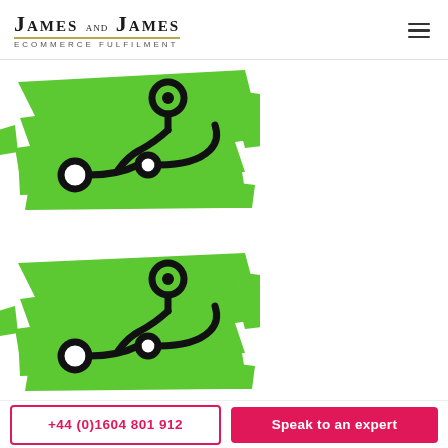James and James eCommerce Fulfilment
[Figure (illustration): Green brushstroke background with black route/logistics icon showing connected nodes and a location pin marker - first instance]
[Figure (illustration): Green brushstroke background with black route/logistics icon showing connected nodes and a location pin marker - second instance]
+44 (0)1604 801 912
Speak to an expert